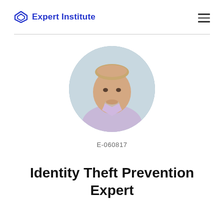Expert Institute
[Figure (photo): Circular headshot of a middle-aged man with light hair and a goatee, wearing a light purple/lavender collared shirt, against a grey background.]
E-060817
Identity Theft Prevention Expert